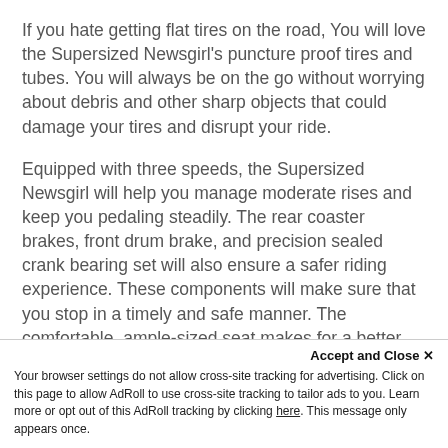If you hate getting flat tires on the road, You will love the Supersized Newsgirl's puncture proof tires and tubes. You will always be on the go without worrying about debris and other sharp objects that could damage your tires and disrupt your ride.
Equipped with three speeds, the Supersized Newsgirl will help you manage moderate rises and keep you pedaling steadily. The rear coaster brakes, front drum brake, and precision sealed crank bearing set will also ensure a safer riding experience. These components will make sure that you stop in a timely and safe manner. The comfortable, ample-sized seat makes for a better riding experience. No more chaffing, no more pain, no more saddle sores! And if you love cycling at night, the reflectors on the front
Accept and Close ✕
Your browser settings do not allow cross-site tracking for advertising. Click on this page to allow AdRoll to use cross-site tracking to tailor ads to you. Learn more or opt out of this AdRoll tracking by clicking here. This message only appears once.